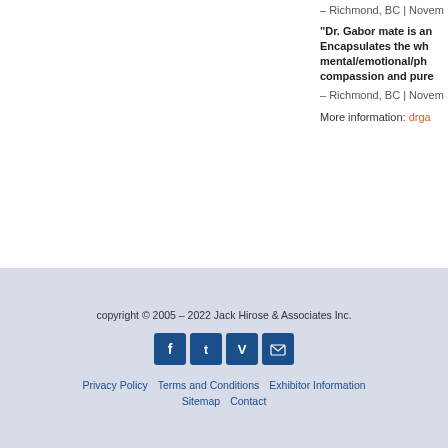– Richmond, BC | Novem
“Dr. Gabor mate is an... Encapsulates the wh... mental/emotional/ph... compassion and pure
– Richmond, BC | Novem
More information: drga
copyright © 2005 – 2022 Jack Hirose & Associates Inc.
Privacy Policy | Terms and Conditions | Exhibitor Information | Sitemap | Contact